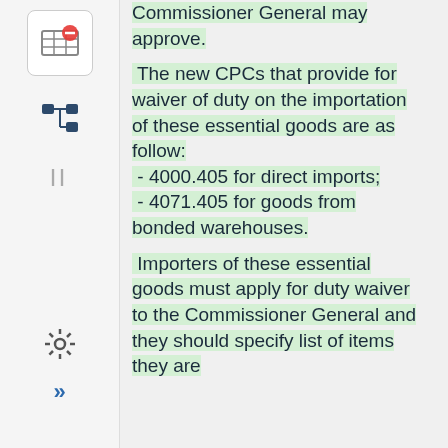[Figure (other): Sidebar with icons: a no-entry/table icon in a box, a tree/hierarchy icon, a vertical drag handle, a gear/settings icon, and double-right-arrow icon]
Commissioner General may approve.
The new CPCs that provide for waiver of duty on the importation of these essential goods are as follow: - 4000.405 for direct imports; - 4071.405 for goods from bonded warehouses.
Importers of these essential goods must apply for duty waiver to the Commissioner General and they should specify list of items they are